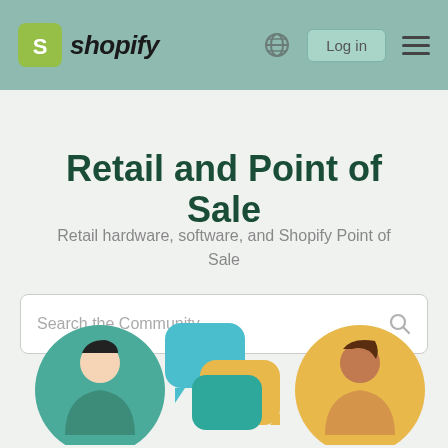[Figure (logo): Shopify logo with green shopping bag icon and italic 'shopify' wordmark, navigation bar with globe icon, Log in button, and hamburger menu]
Retail and Point of Sale
Retail hardware, software, and Shopify Point of Sale
[Figure (other): Search bar with placeholder text 'Search the Community...' and search icon]
[Figure (illustration): Community illustration showing three figures: a person in teal circle on the left, chat bubble icons in the center, and a person in yellow circle on the right]